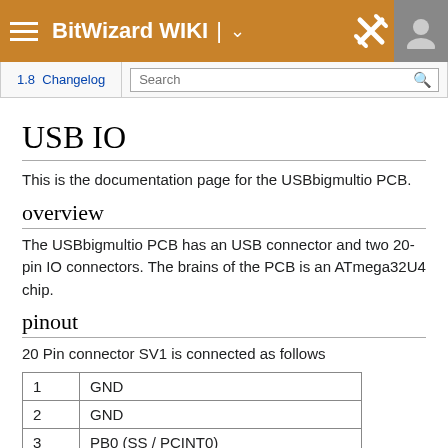BitWizard WIKI
1.8  Changelog
USB IO
This is the documentation page for the USBbigmultio PCB.
overview
The USBbigmultio PCB has an USB connector and two 20-pin IO connectors. The brains of the PCB is an ATmega32U4 chip.
pinout
20 Pin connector SV1 is connected as follows
|  |  |
| --- | --- |
| 1 | GND |
| 2 | GND |
| 3 | PB0 (SS / PCINT0) |